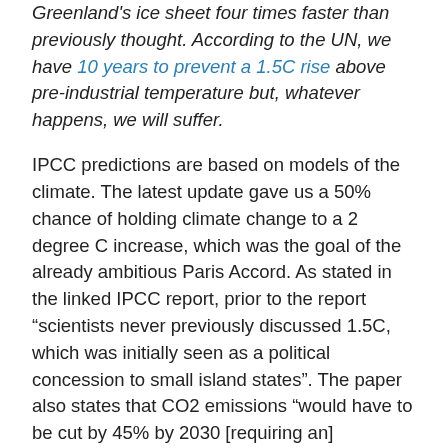Greenland's ice sheet four times faster than previously thought. According to the UN, we have 10 years to prevent a 1.5C rise above pre-industrial temperature but, whatever happens, we will suffer.
IPCC predictions are based on models of the climate. The latest update gave us a 50% chance of holding climate change to a 2 degree C increase, which was the goal of the already ambitious Paris Accord. As stated in the linked IPCC report, prior to the report “scientists never previously discussed 1.5C, which was initially seen as a political concession to small island states”. The paper also states that CO2 emissions “would have to be cut by 45% by 2030 [requiring an] unprecedented shift in energy systems and transport”. The cost would also be unprecedented.
Pandemics and the climate crisis may go hand in hand, too: research suggests that changing weather patterns